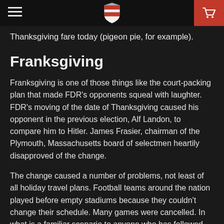[Navigation header with hamburger menu, shield logo, and cart]
Thanksgiving fare today (pigeon pie, for example).
Franksgiving
Franksgiving is one of those things like the court-packing plan that made FDR's opponents squeal with laughter. FDR's moving of the date of Thanksgiving caused his opponent in the previous election, Alf Landon, to compare him to Hitler. James Frasier, chairman of the Plymouth, Massachusetts board of selectmen heartily disapproved of the change.
The change caused a number of problems, not least of all holiday travel plans. Football teams around the nation played before empty stadiums because they couldn't change their schedule. Many games were cancelled. In what is a familiar scenario to anyone who has followed 21st-century politics, Democrats narrowly supported Franksgiving (52 to 48), Republicans widely despised it (79 to 21) and most of America didn't like it (62 to 38).
All told, 23 states and the District of Columbia recognized the new date, while 22 preferred the traditional date. The remaining three